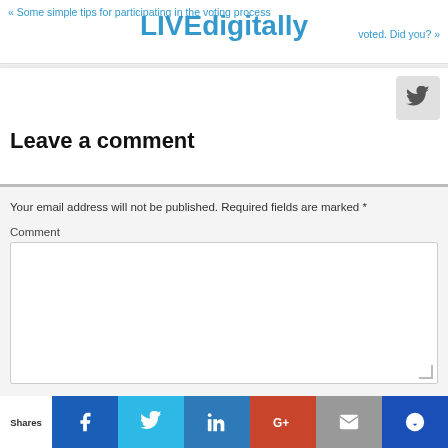« Some simple tips for participating in the voting process   LIVEdigitally   voted. Did you? »
Leave a comment
Your email address will not be published. Required fields are marked *
Comment
Shares  [Facebook] [Twitter] [LinkedIn] [Google+] [Email] [Stumble]